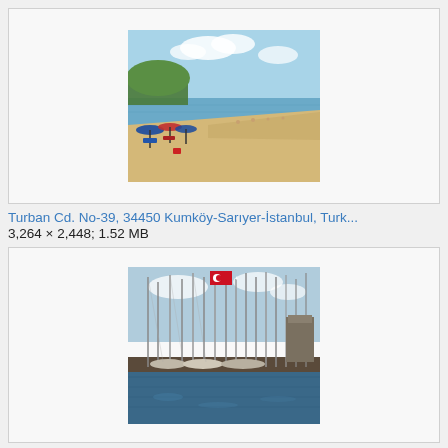[Figure (photo): Beach scene with sandy shore, beach umbrellas and chairs on the left, people on the beach and in the sea, trees and blue sky in the background.]
Turban Cd. No-39, 34450 Kumköy-Sarıyer-İstanbul, Turk...
3,264 × 2,448; 1.52 MB
[Figure (photo): Marina scene with many sailing boats with tall masts docked, a Turkish flag visible, blue sky and water reflections.]
Атакей - марина - panoramio.jpg
3,264 × 2,448; 3.28 MB